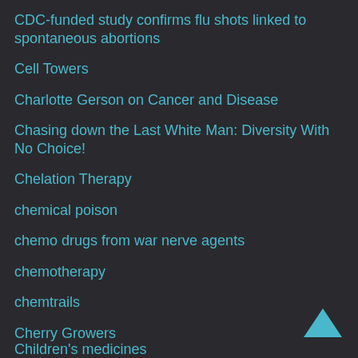CDC-funded study confirms flu shots linked to spontaneous abortions
Cell Towers
Charlotte Gerson on Cancer and Disease
Chasing down the Last White Man: Diversity With No Choice!
Chelation Therapy
chemical poison
chemo drugs from war nerve agents
chemotherapy
chemtrails
Cherry Growers
chickens
Child Porn Lesbian Themes
children's hospital
Children's medicines